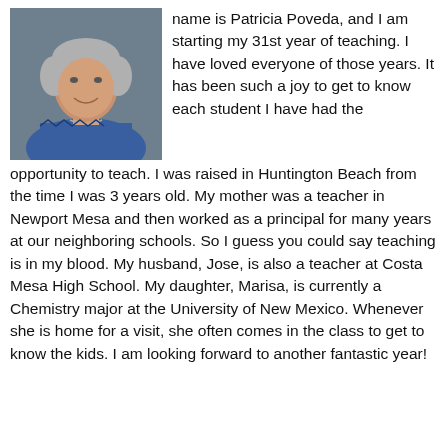[Figure (photo): Portrait photo of Patricia Poveda, a woman with short blonde/gray hair, wearing a blue patterned top, smiling slightly against a gray background.]
name is Patricia Poveda, and I am starting my 31st year of teaching.  I have loved everyone of those years.  It has been such a joy to get to know each student I have had the opportunity to teach.  I was raised in Huntington Beach from the time I was 3 years old.  My mother was a teacher in Newport Mesa and then worked as a principal for many years at our neighboring schools.  So I guess you could say teaching is in my blood.  My husband, Jose, is also a teacher at Costa Mesa High School.  My daughter, Marisa, is currently a Chemistry major at the University of New Mexico.  Whenever she is home for a visit, she often comes in the class to get to know the kids.  I am looking forward to another fantastic year!